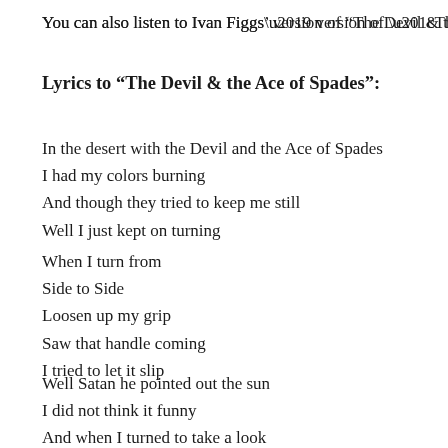You can also listen to Ivan Figgs’ version of “The Devil & the A…
Lyrics to “The Devil & the Ace of Spades”:
In the desert with the Devil and the Ace of Spades
I had my colors burning
And though they tried to keep me still
Well I just kept on turning
When I turn from
Side to Side
Loosen up my grip
Saw that handle coming
I tried to let it slip
Well Satan he pointed out the sun
I did not think it funny
And when I turned to take a look
You know he pulled out all his money